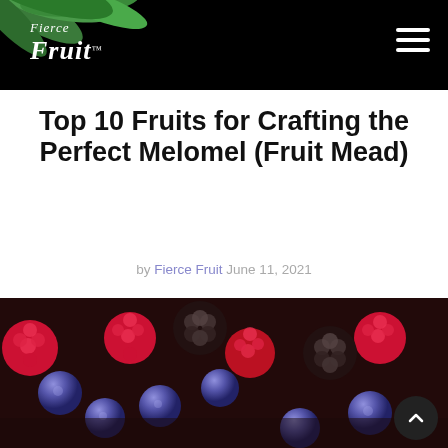Fierce Fruit
Top 10 Fruits for Crafting the Perfect Melomel (Fruit Mead)
by Fierce Fruit June 11, 2021
[Figure (photo): Close-up photo of mixed berries including raspberries, blackberries, and blueberries]